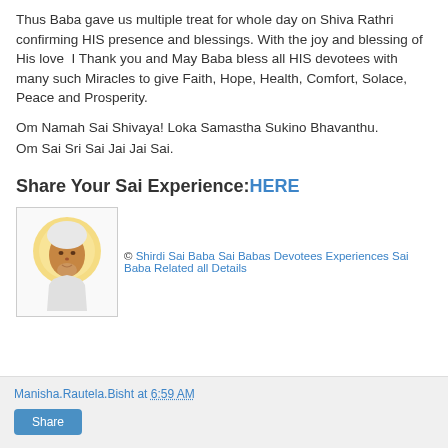Thus Baba gave us multiple treat for whole day on Shiva Rathri confirming HIS presence and blessings. With the joy and blessing of His love  I Thank you and May Baba bless all HIS devotees with many such Miracles to give Faith, Hope, Health, Comfort, Solace, Peace and Prosperity.
Om Namah Sai Shivaya! Loka Samastha Sukino Bhavanthu. Om Sai Sri Sai Jai Jai Sai.
Share Your Sai Experience:HERE
[Figure (illustration): Small portrait image of Shirdi Sai Baba with a golden/yellow halo, depicted in traditional style]
© Shirdi Sai Baba Sai Babas Devotees Experiences Sai Baba Related all Details
Manisha.Rautela.Bisht at 6:59 AM
Share